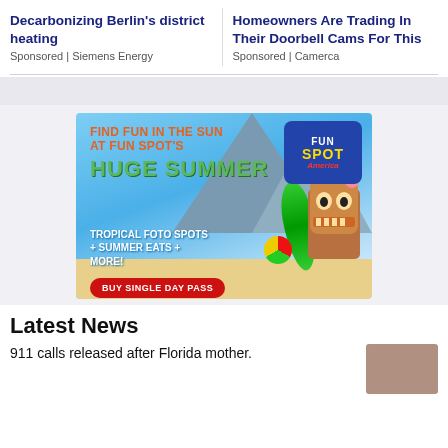Decarbonizing Berlin's district heating
Sponsored | Siemens Energy
Homeowners Are Trading In Their Doorbell Cams For This
Sponsored | Camerca
[Figure (infographic): Fun Spot America summer promotion banner: 'Find Fun in the Sun at Fun Spot's Huge Summer – Tropical Foto Spots + Summer Eats + More! Buy Single Day Pass']
Latest News
911 calls released after Florida mother.